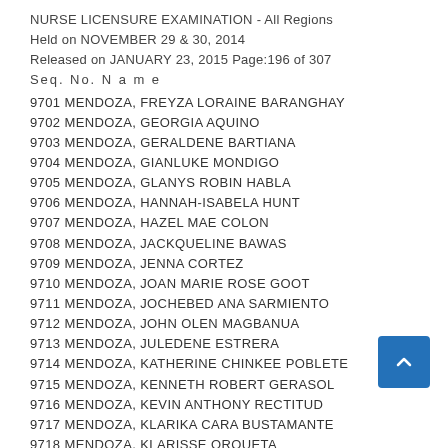NURSE LICENSURE EXAMINATION - All Regions
Held on NOVEMBER 29 & 30, 2014
Released on JANUARY 23, 2015 Page:196 of 307
Seq. No. N a m e
9701 MENDOZA, FREYZA LORAINE BARANGHAY
9702 MENDOZA, GEORGIA AQUINO
9703 MENDOZA, GERALDENE BARTIANA
9704 MENDOZA, GIANLUKE MONDIGO
9705 MENDOZA, GLANYS ROBIN HABLA
9706 MENDOZA, HANNAH-ISABELA HUNT
9707 MENDOZA, HAZEL MAE COLON
9708 MENDOZA, JACKQUELINE BAWAS
9709 MENDOZA, JENNA CORTEZ
9710 MENDOZA, JOAN MARIE ROSE GOOT
9711 MENDOZA, JOCHEBED ANA SARMIENTO
9712 MENDOZA, JOHN OLEN MAGBANUA
9713 MENDOZA, JULEDENE ESTRERA
9714 MENDOZA, KATHERINE CHINKEE POBLETE
9715 MENDOZA, KENNETH ROBERT GERASOL
9716 MENDOZA, KEVIN ANTHONY RECTITUD
9717 MENDOZA, KLARIKA CARA BUSTAMANTE
9718 MENDOZA, KLARISSE ORQUETA (partial)